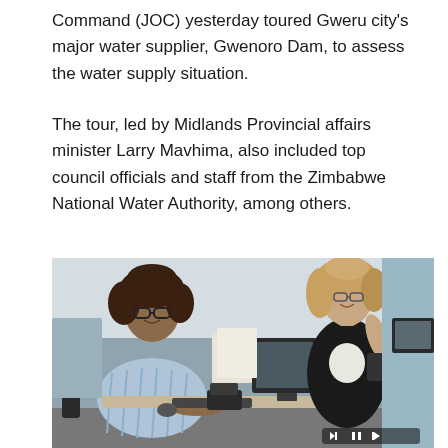Command (JOC) yesterday toured Gweru city's major water supplier, Gwenoro Dam, to assess the water supply situation.
The tour, led by Midlands Provincial affairs minister Larry Mavhima, also included top council officials and staff from the Zimbabwe National Water Authority, among others.
[Figure (photo): Two women in an office setting, one seated at a desk with a computer and phone smiling at the other, who is standing and gesturing while holding a phone. Office environment with monitors and papers visible. Media playback controls visible at bottom right.]